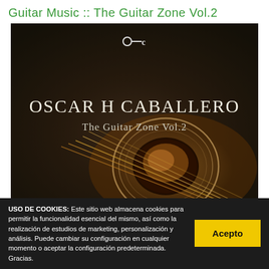Guitar Music :: The Guitar Zone Vol.2
[Figure (photo): Album cover for Oscar H Caballero - The Guitar Zone Vol.2. Dark brown/charcoal textured background with a partial view of an acoustic guitar soundhole and strings in warm amber tones. Text reads 'OSCAR H CABALLERO' in large white serif font and 'The Guitar Zone Vol.2' below in lighter white text. A small logo icon (circle connected to C shape) appears at the top center.]
USO DE COOKIES: Este sitio web almacena cookies para permitir la funcionalidad esencial del mismo, así como la realización de estudios de marketing, personalización y análisis. Puede cambiar su configuración en cualquier momento o aceptar la configuración predeterminada. Gracias.